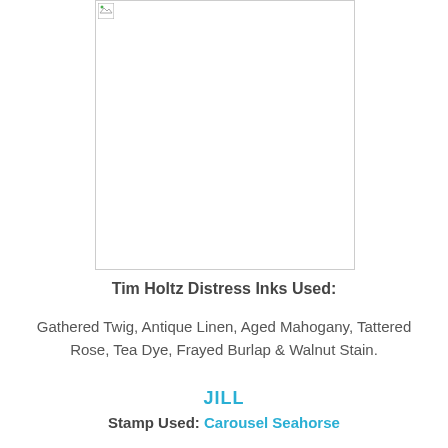[Figure (photo): A craft/art project image placeholder showing a mostly white framed image area with a small broken image icon in the top-left corner.]
Tim Holtz Distress Inks Used:
Gathered Twig, Antique Linen, Aged Mahogany, Tattered Rose, Tea Dye, Frayed Burlap & Walnut Stain.
JILL
Stamp Used: Carousel Seahorse